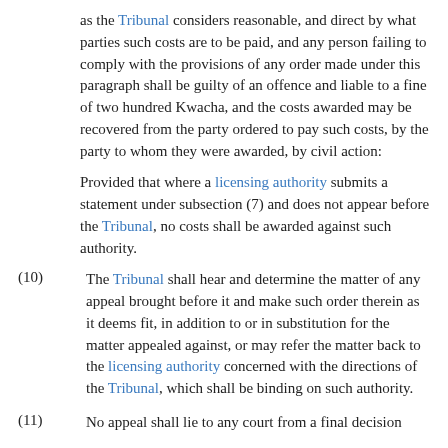as the Tribunal considers reasonable, and direct by what parties such costs are to be paid, and any person failing to comply with the provisions of any order made under this paragraph shall be guilty of an offence and liable to a fine of two hundred Kwacha, and the costs awarded may be recovered from the party ordered to pay such costs, by the party to whom they were awarded, by civil action:
Provided that where a licensing authority submits a statement under subsection (7) and does not appear before the Tribunal, no costs shall be awarded against such authority.
(10) The Tribunal shall hear and determine the matter of any appeal brought before it and make such order therein as it deems fit, in addition to or in substitution for the matter appealed against, or may refer the matter back to the licensing authority concerned with the directions of the Tribunal, which shall be binding on such authority.
(11) No appeal shall lie to any court from a final decision